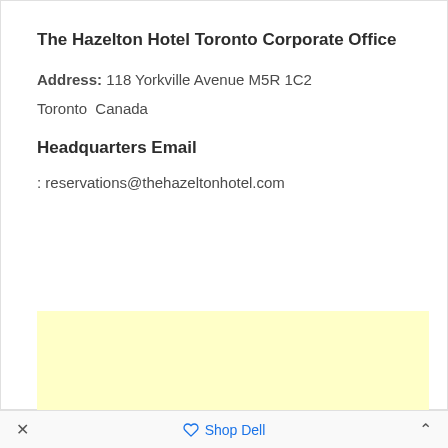The Hazelton Hotel Toronto Corporate Office
Address: 118 Yorkville Avenue M5R 1C2
Toronto  Canada
Headquarters Email
: reservations@thehazeltonhotel.com
[Figure (other): Yellow advertisement box placeholder]
× Shop Dell ^